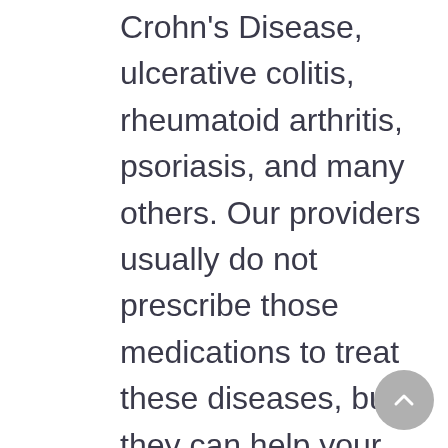Crohn's Disease, ulcerative colitis, rheumatoid arthritis, psoriasis, and many others. Our providers usually do not prescribe those medications to treat these diseases, but they can help your specialist administer the drugs to you. For patients that are allergic to the medications, our providers are able to administer the drugs to them through a special protocol known as “desensitization.” This allows an allergic patient to continue taking those important medications—and preventing them from having to discontinue them—